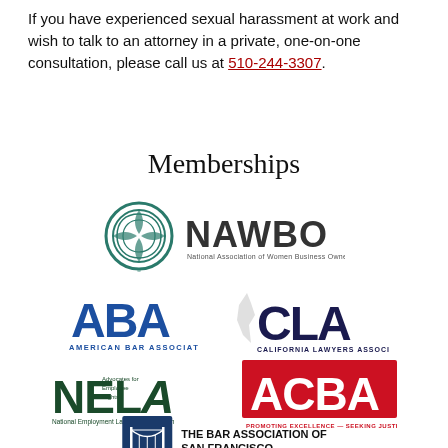If you have experienced sexual harassment at work and wish to talk to an attorney in a private, one-on-one consultation, please call us at 510-244-3307.
Memberships
[Figure (logo): NAWBO – National Association of Women Business Owners logo with teal circular symbol]
[Figure (logo): ABA – American Bar Association logo in blue]
[Figure (logo): CLA – California Lawyers Association logo in dark navy]
[Figure (logo): NELA – National Employment Lawyers Association logo in dark green]
[Figure (logo): ACBA – Promoting Excellence, Seeking Justice logo in red]
[Figure (logo): The Bar Association of San Francisco logo with bridge icon]